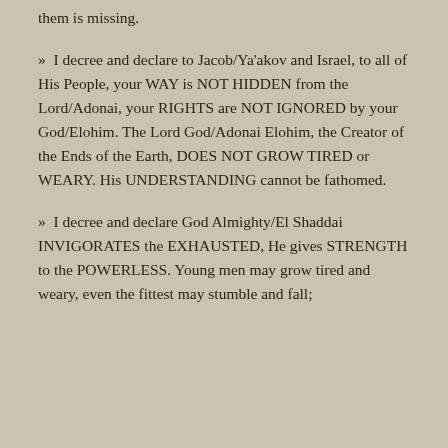them is missing.
» I decree and declare to Jacob/Ya'akov and Israel, to all of His People, your WAY is NOT HIDDEN from the Lord/Adonai, your RIGHTS are NOT IGNORED by your God/Elohim. The Lord God/Adonai Elohim, the Creator of the Ends of the Earth, DOES NOT GROW TIRED or WEARY. His UNDERSTANDING cannot be fathomed.
» I decree and declare God Almighty/El Shaddai INVIGORATES the EXHAUSTED, He gives STRENGTH to the POWERLESS. Young men may grow tired and weary, even the fittest may stumble and fall;